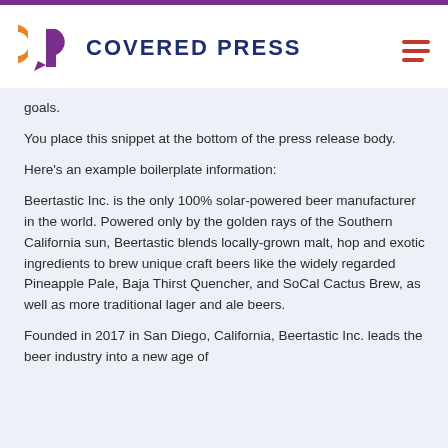COVERED PRESS
goals.
You place this snippet at the bottom of the press release body.
Here's an example boilerplate information:
Beertastic Inc. is the only 100% solar-powered beer manufacturer in the world. Powered only by the golden rays of the Southern California sun, Beertastic blends locally-grown malt, hop and exotic ingredients to brew unique craft beers like the widely regarded Pineapple Pale, Baja Thirst Quencher, and SoCal Cactus Brew, as well as more traditional lager and ale beers.
Founded in 2017 in San Diego, California, Beertastic Inc. leads the beer industry into a new age of...